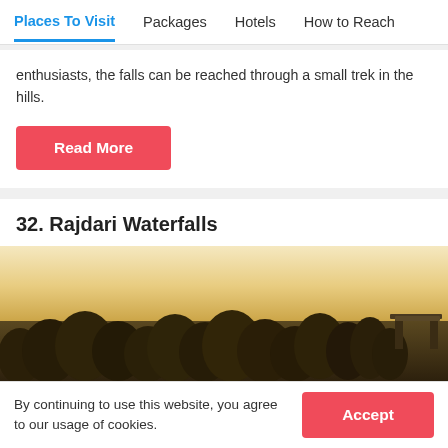Places To Visit | Packages | Hotels | How to Reach
enthusiasts, the falls can be reached through a small trek in the hills.
Read More
32. Rajdari Waterfalls
[Figure (photo): Landscape photo of Rajdari Waterfalls showing treeline silhouette against a bright sky with a structure visible on the right side]
By continuing to use this website, you agree to our usage of cookies.
Accept